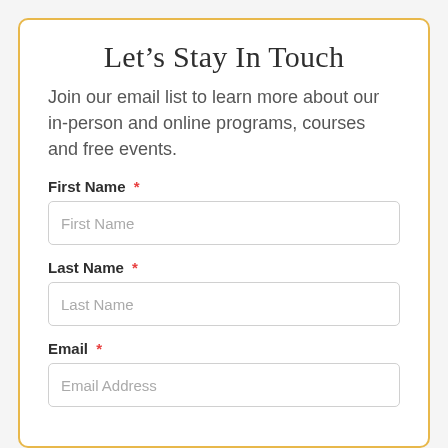Let’s Stay In Touch
Join our email list to learn more about our in-person and online programs, courses and free events.
First Name *
First Name
Last Name *
Last Name
Email *
Email Address